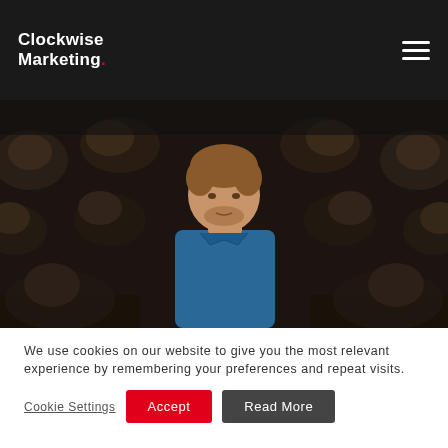Clockwise Marketing.
[Figure (photo): Dark studio photo showing one man in a blue polo shirt facing forward surrounded by multiple copies/clones of himself bowing their heads in dark clothing against a black background]
We use cookies on our website to give you the most relevant experience by remembering your preferences and repeat visits.
Cookie Settings  Accept  Read More